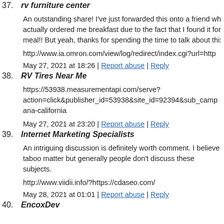37. rv furniture center
An outstanding share! I've just forwarded this onto a friend who actually ordered me breakfast due to the fact that I found it for meal!! But yeah, thanks for spending the time to talk about this
http://www.ia.omron.com/view/log/redirect/index.cgi?url=http
May 27, 2021 at 18:26 | Report abuse | Reply
38. RV Tires Near Me
https://53938.measurementapi.com/serve?action=click&publisher_id=53938&site_id=92394&sub_camp ana-california
May 27, 2021 at 23:20 | Report abuse | Reply
39. Internet Marketing Specialists
An intriguing discussion is definitely worth comment. I believe taboo matter but generally people don't discuss these subjects.
http://www.viidii.info/?https://cdaseo.com/
May 28, 2021 at 01:01 | Report abuse | Reply
40. EncoxDev